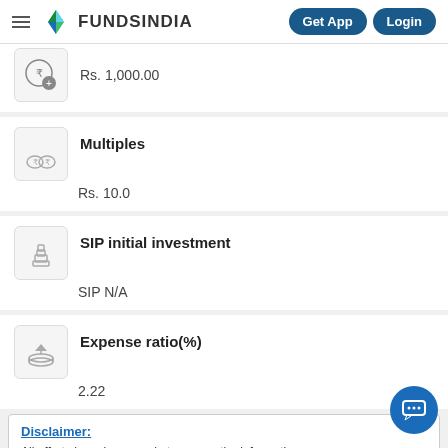FundsIndia — Get App | Login
Rs. 1,000.00
Multiples
Rs. 10.0
SIP initial investment
SIP N/A
Expense ratio(%)
2.22
Disclaimer:
All efforts have been made to ensure the information provided here is accurate. However, no guarantees are made regarding correctness of data. Please verify with scheme information documents before taking any action.